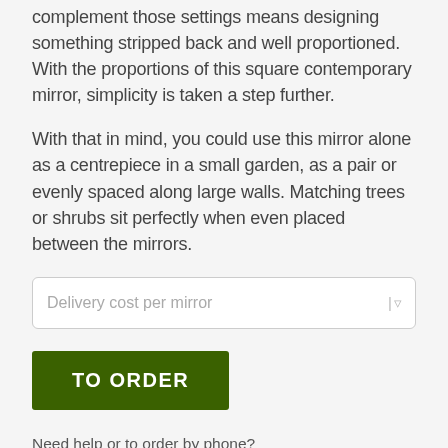complement those settings means designing something stripped back and well proportioned. With the proportions of this square contemporary mirror, simplicity is taken a step further.
With that in mind, you could use this mirror alone as a centrepiece in a small garden, as a pair or evenly spaced along large walls. Matching trees or shrubs sit perfectly when even placed between the mirrors.
Delivery cost per mirror
TO ORDER
Need help or to order by phone?
No problem call - 0416 041 504